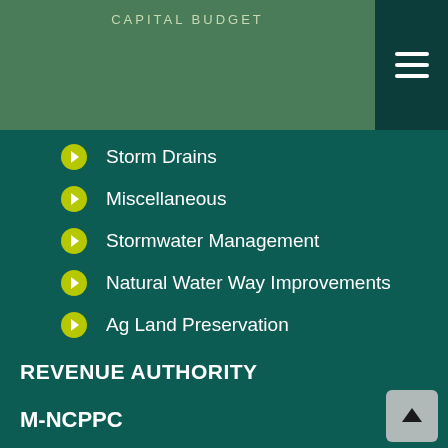CAPITAL BUDGET
Storm Drains
Miscellaneous
Stormwater Management
Natural Water Way Improvements
Ag Land Preservation
REVENUE AUTHORITY
Economic Development
Miscellaneous Projects (Revenue Authority)
Golf Courses
M-NCPPC